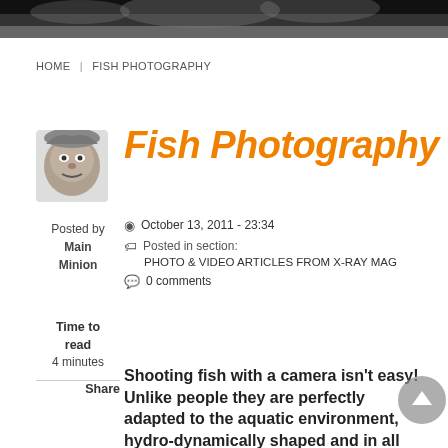[Figure (photo): Header photo of coral/marine life, dark tones with textured surface]
HOME | FISH PHOTOGRAPHY
[Figure (photo): Small avatar image of a stylized face/character, grayscale]
Fish Photography
Posted by Main Minion
October 13, 2011 - 23:34
Posted in section: PHOTO & VIDEO ARTICLES FROM X-RAY MAG
0 comments
Time to read
4 minutes
Share
Shooting fish with a camera isn't easy! Unlike people they are perfectly adapted to the aquatic environment, hydro-dynamically shaped and in all their